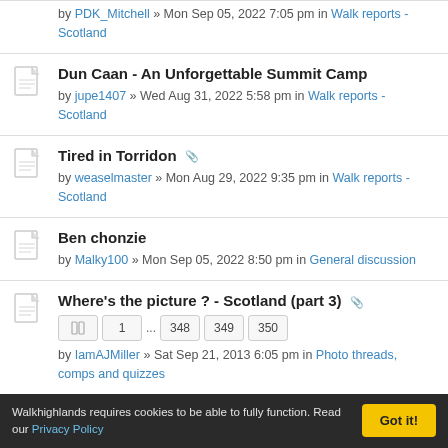by PDK_Mitchell » Mon Sep 05, 2022 7:05 pm in Walk reports - Scotland
Dun Caan - An Unforgettable Summit Camp
by jupe1407 » Wed Aug 31, 2022 5:58 pm in Walk reports - Scotland
Tired in Torridon [attachment]
by weaselmaster » Mon Aug 29, 2022 9:35 pm in Walk reports - Scotland
Ben chonzie
by Malky100 » Mon Sep 05, 2022 8:50 pm in General discussion
Where's the picture ? - Scotland (part 3) [attachment]
1 ... 348 349 350
by IamAJMiller » Sat Sep 21, 2013 6:05 pm in Photo threads, comps and quizzes
Walkhighlands requires cookies to be able to fully function. Read our Privacy Policy